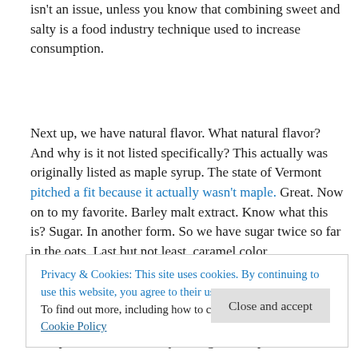isn't an issue, unless you know that combining sweet and salty is a food industry technique used to increase consumption.
Next up, we have natural flavor. What natural flavor? And why is it not listed specifically? This actually was originally listed as maple syrup. The state of Vermont pitched a fit because it actually wasn't maple. Great. Now on to my favorite. Barley malt extract. Know what this is? Sugar. In another form. So we have sugar twice so far in the oats. Last but not least, caramel color.
Privacy & Cookies: This site uses cookies. By continuing to use this website, you agree to their use. To find out more, including how to control cookies, see here: Cookie Policy
least pronounceable. But you've got a couple hidden